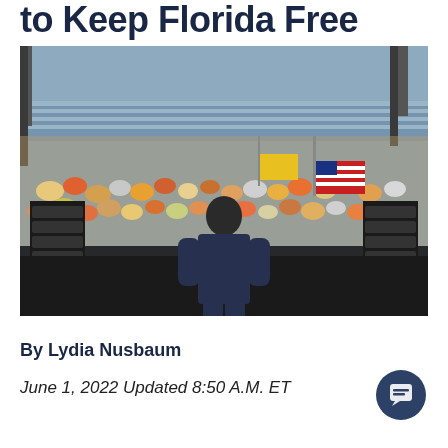to Keep Florida Free
[Figure (photo): A person standing on stage with their back to the camera, facing a large outdoor crowd at a rally. Large speaker stacks are visible on either side. Crowd members hold American flags and signs. A stadium or grandstand is visible in the background.]
By Lydia Nusbaum
June 1, 2022 Updated 8:50 A.M. ET